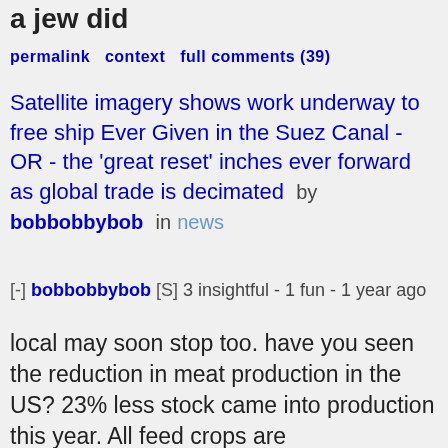a jew did
permalink  context  full comments (39)
Satellite imagery shows work underway to free ship Ever Given in the Suez Canal - OR - the 'great reset' inches ever forward as global trade is decimated  by bobbobbybob  in news
[-] bobbobbybob [S] 3 insightful - 1 fun - 1 year ago
local may soon stop too. have you seen the reduction in meat production in the US? 23% less stock came into production this year. All feed crops are